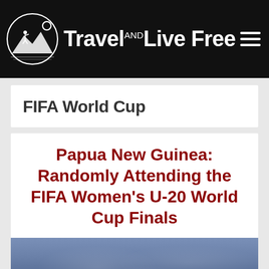Travel AND Live Free
FIFA World Cup
Papua New Guinea: Randomly Attending the FIFA Women's U-20 World Cup Finals
[Figure (photo): Outdoor sky and stadium scene, blue sky with clouds and warm tones at the bottom]